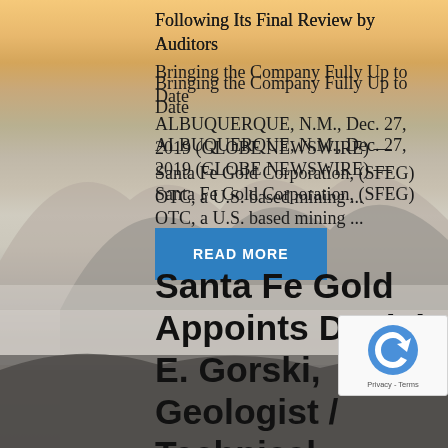Following Its Final Review by Auditors
Bringing the Company Fully Up to Date
ALBUQUERQUE, N.M., Dec. 27, 2019 (GLOBE NEWSWIRE) — Santa Fe Gold Corporation, (SFEG) OTC, a U.S. based mining ...
READ MORE
Santa Fe Gold Appoints Daniel E. Gorski, Geologist / Technical Advisor for Exploration, Development and Mining for Santa Fe...